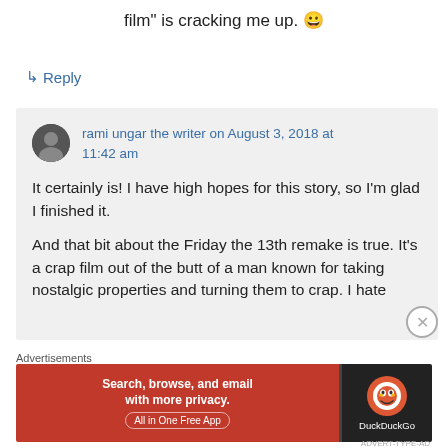film" is cracking me up. 😀
↳ Reply
rami ungar the writer on August 3, 2018 at 11:42 am
It certainly is! I have high hopes for this story, so I'm glad I finished it.
And that bit about the Friday the 13th remake is true. It's a crap film out of the butt of a man known for taking nostalgic properties and turning them to crap. I hate
Advertisements
[Figure (screenshot): DuckDuckGo advertisement banner: Search, browse, and email with more privacy. All in One Free App.]